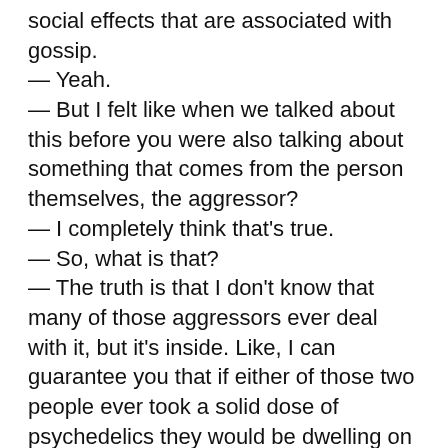…So, there are those, and then there are those social effects that are associated with gossip. — Yeah. — But I felt like when we talked about this before you were also talking about something that comes from the person themselves, the aggressor? — I completely think that's true. — So, what is that? — The truth is that I don't know that many of those aggressors ever deal with it, but it's inside. Like, I can guarantee you that if either of those two people ever took a solid dose of psychedelics they would be dwelling on their situation with you for a good portion of time. It's the kind of thing that gets trapped in there and like maybe you deal with it ten years later or twenty, but whenever you strip off the first layer of mind—I can say from experience that you don't give up the times that you've hurt people. They come up really fast and strong when your mind is able to see it. It's all